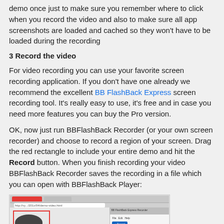demo once just to make sure you remember where to click when you record the video and also to make sure all app screenshots are loaded and cached so they won't have to be loaded during the recording
3 Record the video
For video recording you can use your favorite screen recording application. If you don't have one already we recommend the excellent BB FlashBack Express screen recording tool. It's really easy to use, it's free and in case you need more features you can buy the Pro version.
OK, now just run BBFlashBack Recorder (or your own screen recorder) and choose to record a region of your screen. Drag the red rectangle to include your entire demo and hit the Record button. When you finish recording your video BBFlashBack Recorder saves the recording in a file which you can open with BBFlashBack Player:
[Figure (screenshot): Screenshot showing a browser window with a video demo and the BBFlashback Express Recorder panel with a red recording rectangle overlay]